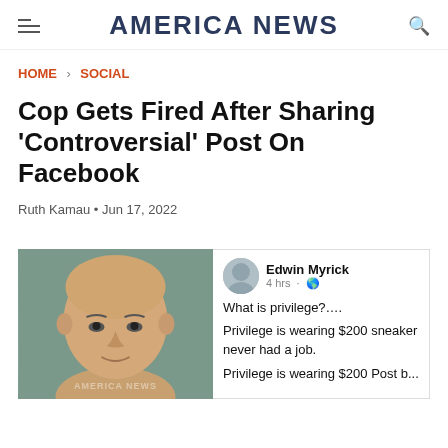AMERICA NEWS
HOME › SOCIAL
Cop Gets Fired After Sharing 'Controversial' Post On Facebook
Ruth Kamau • Jun 17, 2022
[Figure (photo): Bald middle-aged man photo on left; Facebook post by Edwin Myrick on right showing text: 'What is privilege?.... Privilege is wearing $200 sneakers never had a job. Privilege is wearing $200...']
Edwin Myrick • 4 hrs · What is privilege?.... Privilege is wearing $200 sneakers never had a job. Privilege is wearing $200 Post b...